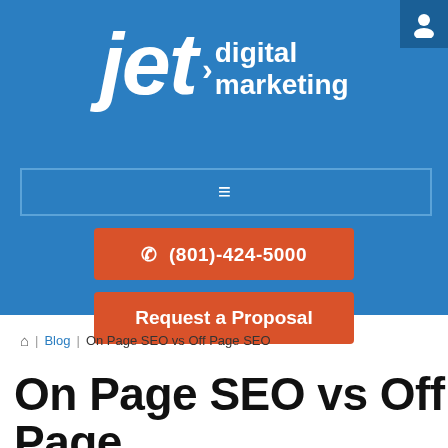[Figure (logo): Jet Digital Marketing logo on blue background with hamburger navigation menu, phone number button, and request a proposal button]
🏠 | Blog | On Page SEO vs Off Page SEO
On Page SEO vs Off Page